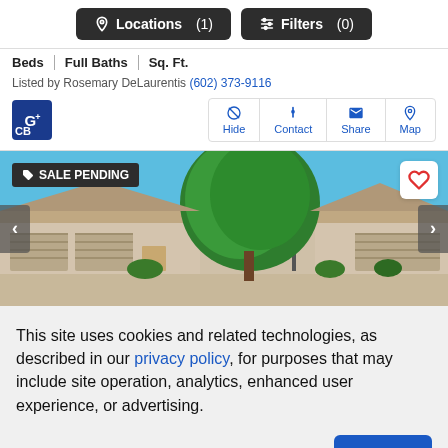Locations (1)   Filters (0)
Beds | Full Baths | Sq. Ft.
Listed by Rosemary DeLaurentis (602) 373-9116
[Figure (screenshot): Coldwell Banker logo and action buttons: Hide, Contact, Share, Map]
[Figure (photo): Exterior photo of a beige stucco residential home with a large green tree in front, garage doors visible. Badge reads SALE PENDING. Navigation arrows on left and right. Heart/favorite button top right.]
This site uses cookies and related technologies, as described in our privacy policy, for purposes that may include site operation, analytics, enhanced user experience, or advertising.
Manage Preferences   Accept